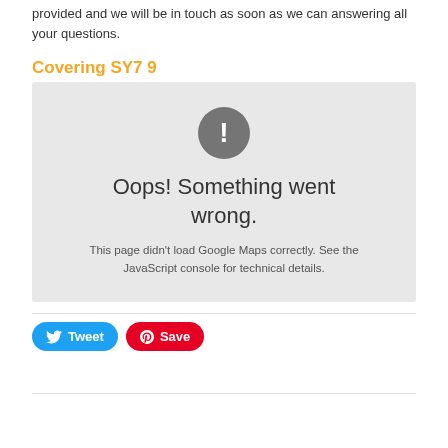provided and we will be in touch as soon as we can answering all your questions.
Covering SY7 9
[Figure (screenshot): Google Maps error screenshot showing 'Oops! Something went wrong.' with a grey exclamation mark icon and message 'This page didn't load Google Maps correctly. See the JavaScript console for technical details.']
Tweet  Save